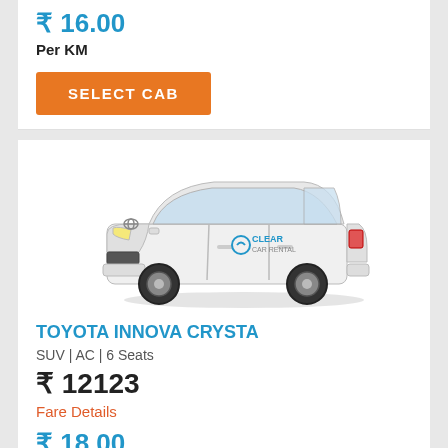₹ 16.00
Per KM
SELECT CAB
[Figure (photo): White Toyota Innova Crysta SUV with 'Clear Car Rental' branding on the door]
TOYOTA INNOVA CRYSTA
SUV | AC | 6 Seats
₹ 12123
Fare Details
₹ 18.00
Per KM